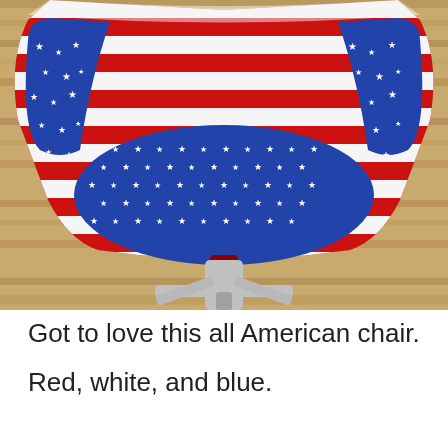[Figure (photo): A chair upholstered in an American flag pattern. The back and sides feature red and white stripes. The seat cushion and side panels are blue with white stars. The chair has a metallic swivel base and sits on a wooden floor.]
Got to love this all American chair.
Red, white, and blue.